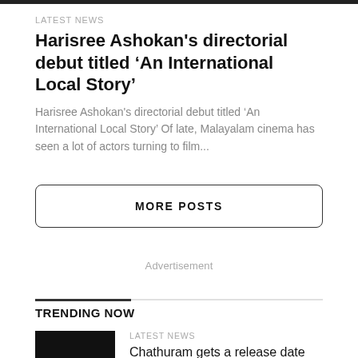LATEST NEWS
Harisree Ashokan's directorial debut titled ‘An International Local Story’
Harisree Ashokan's directorial debut titled ‘An International Local Story’ Of late, Malayalam cinema has seen a lot of actors turning to film...
MORE POSTS
Advertisement
TRENDING NOW
LATEST NEWS
Chathuram gets a release date